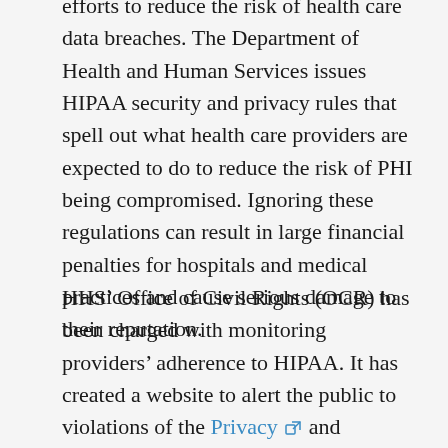efforts to reduce the risk of health care data breaches. The Department of Health and Human Services issues HIPAA security and privacy rules that spell out what health care providers are expected to do to reduce the risk of PHI being compromised. Ignoring these regulations can result in large financial penalties for hospitals and medical practices and cause serious damage to their reputation.
HHS' Office of Civil Rights (OCR) has been charged with monitoring providers' adherence to HIPAA. It has created a website to alert the public to violations of the Privacy and Security Rules. Sometimes called the “Wall of Shame,” it lists over 1,000 providers that have experienced breaches,1 ranging from small providers to recognizable health care systems like Kaiser Permanente, Mount Sinai Medical Center and